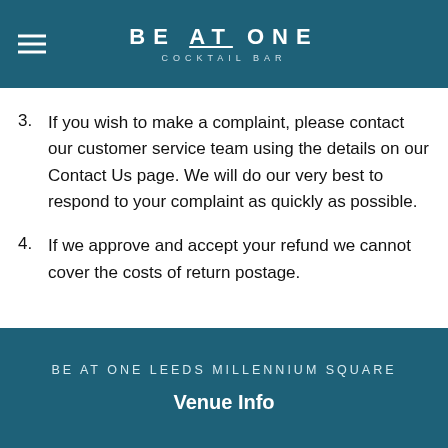BE AT ONE COCKTAIL BAR
3. If you wish to make a complaint, please contact our customer service team using the details on our Contact Us page. We will do our very best to respond to your complaint as quickly as possible.
4. If we approve and accept your refund we cannot cover the costs of return postage.
BE AT ONE LEEDS MILLENNIUM SQUARE
Venue Info
Today: 3:00 PM - 12:00 AM
Book Now